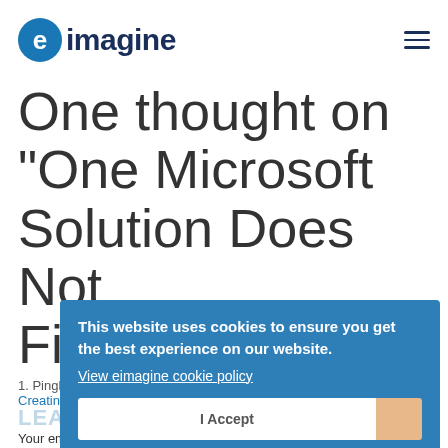eimagine
One thought on “One Microsoft Solution Does Not Fit All”
1. Pingback: Are your software solutions Creating Problems?
LEAVE A REPLY
Your email address will not be published. Required fields are marked *
[Figure (other): Cookie consent banner overlay with blue background. Text: 'This website uses cookies to ensure you get the best experience on our website.' Link: 'View eimagine cookie policy'. Button: 'I Accept']